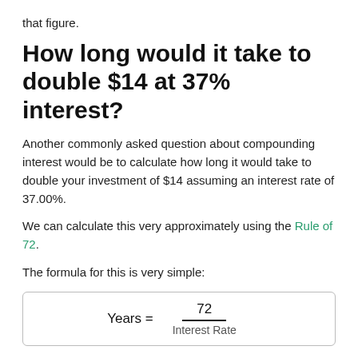that figure.
How long would it take to double $14 at 37% interest?
Another commonly asked question about compounding interest would be to calculate how long it would take to double your investment of $14 assuming an interest rate of 37.00%.
We can calculate this very approximately using the Rule of 72.
The formula for this is very simple: